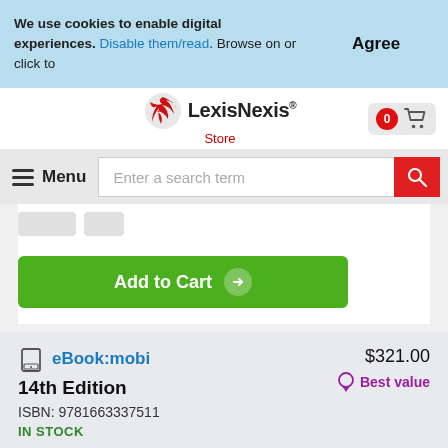We use cookies to enable digital experiences. Disable them/read. Browse on or click to
Agree
[Figure (logo): LexisNexis Store logo with red spiral icon]
Menu
Enter a search term
Add to Cart
eBook:mobi
14th Edition
ISBN: 9781663337511
IN STOCK
$321.00
Best value
1